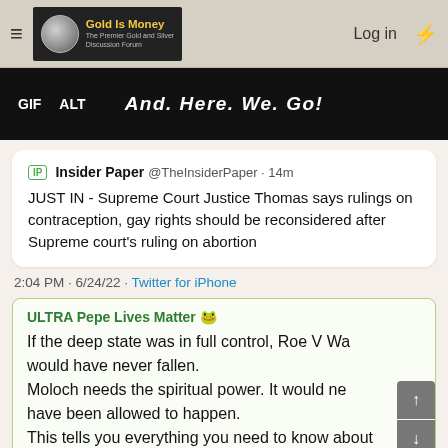Gold Is Money - The Premier Gold and Silver Discussion Forum | Log in
[Figure (screenshot): Dark banner image with text 'GIF ALT And. Here. We. Go!']
IP Insider Paper @TheInsiderPaper · 14m
JUST IN - Supreme Court Justice Thomas says rulings on contraception, gay rights should be reconsidered after Supreme court's ruling on abortion
2:04 PM · 6/24/22 · Twitter for iPhone
ULTRA Pepe Lives Matter 🐸
If the deep state was in full control, Roe V Wade would have never fallen.
Moloch needs the spiritual power. It would never have been allowed to happen.
This tells you everything you need to know about